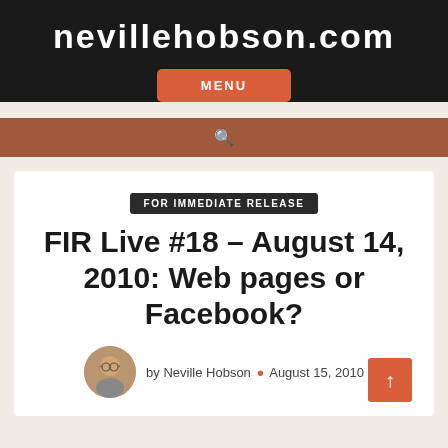nevillehobson.com
MENU
[Figure (other): Search icon (magnifying glass) on brown bar]
FOR IMMEDIATE RELEASE
FIR Live #18 – August 14, 2010: Web pages or Facebook?
by Neville Hobson • August 15, 2010